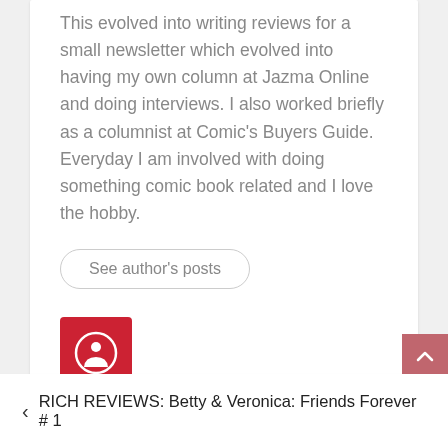This evolved into writing reviews for a small newsletter which evolved into having my own column at Jazma Online and doing interviews. I also worked briefly as a columnist at Comic's Buyers Guide. Everyday I am involved with doing something comic book related and I love the hobby.
See author's posts
[Figure (logo): Red square icon with white circular symbol containing a heart/person shape]
< RICH REVIEWS: Betty & Veronica: Friends Forever # 1